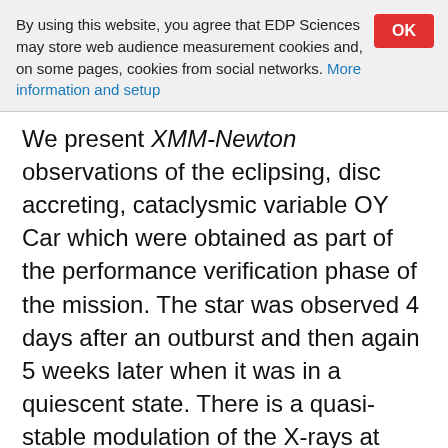By using this website, you agree that EDP Sciences may store web audience measurement cookies and, on some pages, cookies from social networks. More information and setup
We present XMM-Newton observations of the eclipsing, disc accreting, cataclysmic variable OY Car which were obtained as part of the performance verification phase of the mission. The star was observed 4 days after an outburst and then again 5 weeks later when it was in a quiescent state. There is a quasi-stable modulation of the X-rays at ~2240 s, which is most prominent at the lowest energies. We speculate that this may be related to the spin period of the white dwarf. The duration of the eclipse ingress and egress in X-rays is 20-30 s. This indicates that the bulk of the X-ray emission originates from the